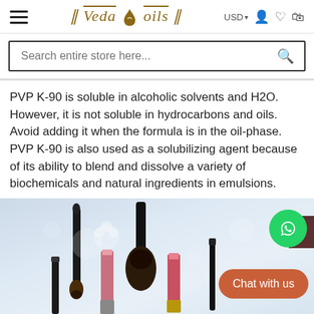[Figure (logo): VedaOils logo with decorative bars and a stylized oil drop icon, in gold/brown color]
Search entire store here...
PVP K-90 is soluble in alcoholic solvents and H2O. However, it is not soluble in hydrocarbons and oils. Avoid adding it when the formula is in the oil-phase. PVP K-90 is also used as a solubilizing agent because of its ability to blend and dissolve a variety of biochemicals and natural ingredients in emulsions.
[Figure (photo): Cosmetic products including makeup brushes and lipsticks arranged against a light blue-grey background]